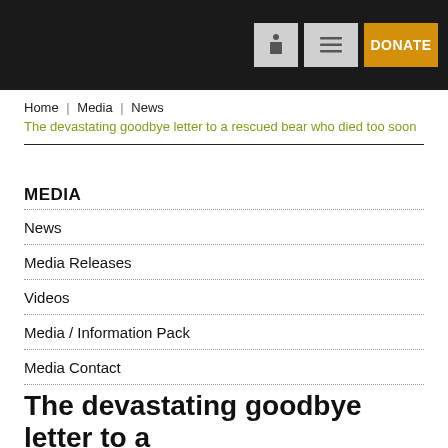DONATE
Home  Media  News  The devastating goodbye letter to a rescued bear who died too soon
MEDIA
News
Media Releases
Videos
Media / Information Pack
Media Contact
The devastating goodbye letter to a